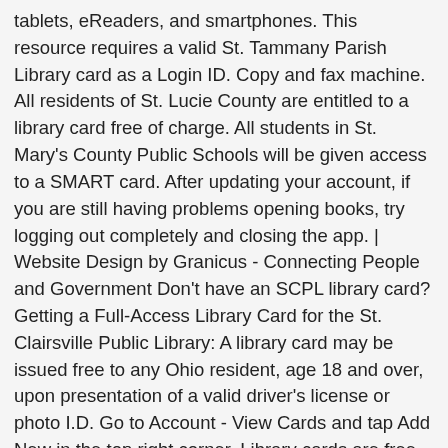tablets, eReaders, and smartphones. This resource requires a valid St. Tammany Parish Library card as a Login ID. Copy and fax machine. All residents of St. Lucie County are entitled to a library card free of charge. All students in St. Mary's County Public Schools will be given access to a SMART card. After updating your account, if you are still having problems opening books, try logging out completely and closing the app. | Website Design by Granicus - Connecting People and Government Don't have an SCPL library card? Getting a Full-Access Library Card for the St. Clairsville Public Library: A library card may be issued free to any Ohio resident, age 18 and over, upon presentation of a valid driver's license or photo I.D. Go to Account - View Cards and tap Add New in the top right corner. Library cards are free for St. Albert residents. This resource can be used at school for the 2020-2021 school year. Use your StarID to access library databases and full text articles from off campus. You can use Biblioboard whenever you're visiting the towns of St. Charles, South Elgin, or Wayne. with a current mailing address. Learn more about possible network issues or contact support for more help. St. Thomas Public Library September 2020